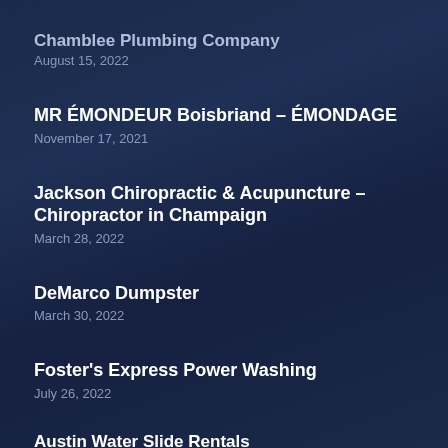Chamblee Plumbing Company
August 15, 2022
MR ÉMONDEUR Boisbriand – ÉMONDAGE
November 17, 2021
Jackson Chiropractic & Acupuncture – Chiropractor in Champaign
March 28, 2022
DeMarco Dumpster
March 30, 2022
Foster's Express Power Washing
July 26, 2022
Austin Water Slide Rentals